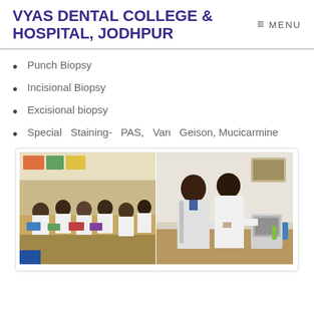VYAS DENTAL COLLEGE & HOSPITAL, JODHPUR
Punch Biopsy
Incisional Biopsy
Excisional biopsy
Special Staining- PAS, Van Geison, Mucicarmine
[Figure (photo): Two side-by-side photos: left shows dental students in white coats seated around a table in a classroom/lab setting; right shows two male students in white coats working with laboratory equipment.]